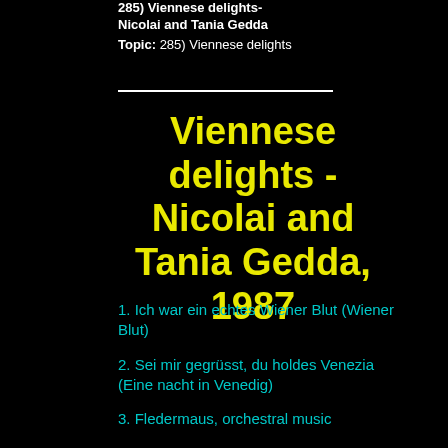285) Viennese delights- Nicolai and Tania Gedda
Topic: 285) Viennese delights
Viennese delights - Nicolai and Tania Gedda, 1987
1. Ich war ein echtes Wiener Blut (Wiener Blut)
2. Sei mir gegrüsst, du holdes Venezia (Eine nacht in Venedig)
3. Fledermaus, orchestral music